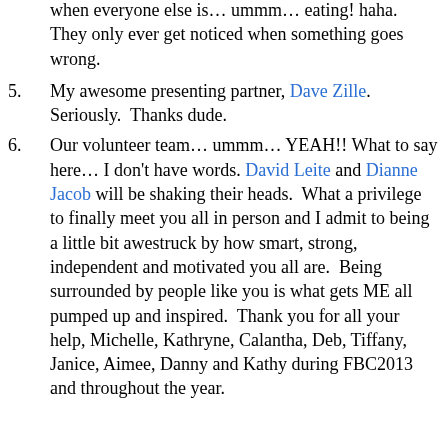when everyone else is… ummm… eating! haha.  They only ever get noticed when something goes wrong.
5. My awesome presenting partner, Dave Zille.  Seriously.  Thanks dude.
6. Our volunteer team… ummm… YEAH!! What to say here… I don't have words. David Leite and Dianne Jacob will be shaking their heads.  What a privilege to finally meet you all in person and I admit to being a little bit awestruck by how smart, strong, independent and motivated you all are.  Being surrounded by people like you is what gets ME all pumped up and inspired.  Thank you for all your help, Michelle, Kathryne, Calantha, Deb, Tiffany, Janice, Aimee, Danny and Kathy during FBC2013 and throughout the year.